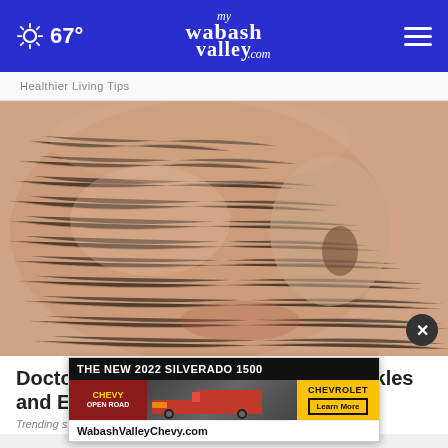myWabashValley.com | 67°
Healthier Living Tips
[Figure (photo): Close-up of a person's face with a white clay or cream mask applied, showing skin texture and wrinkles through the mask material.]
Doctors Stunned: This Removes Wrinkles and Eye-bags Like Crazy
Trending stories
[Figure (other): Advertisement banner for The New 2022 Silverado 1500 by Chevrolet. Shows Chevy Open Road badge, truck image, and WabashValleyChevy.com with Learn More button.]